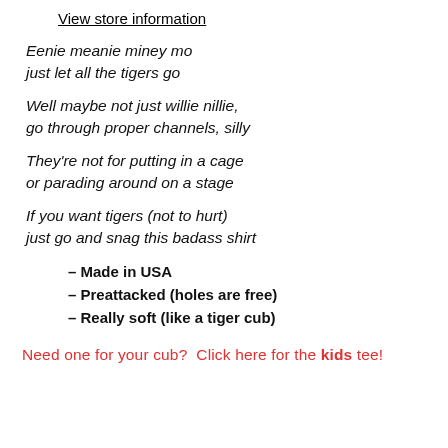View store information
Eenie meanie miney mo
just let all the tigers go
Well maybe not just willie nillie,
go through proper channels, silly
They're not for putting in a cage
or parading around on a stage
If you want tigers (not to hurt)
just go and snag this badass shirt
– Made in USA
– Preattacked (holes are free)
– Really soft (like a tiger cub)
Need one for your cub?  Click here for the kids tee!